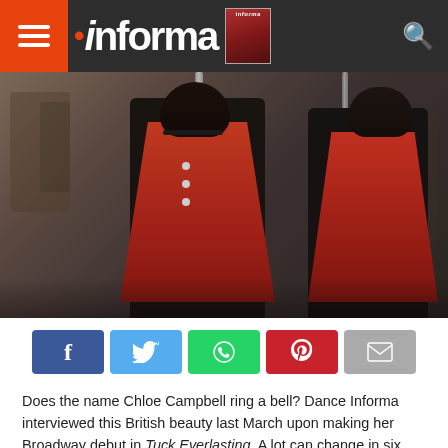Dance Informa
[Figure (photo): Two dancers in red and black military-style costumes at a rehearsal studio, one with arm raised]
[Figure (infographic): Social share buttons: Facebook, Twitter, WhatsApp, Pinterest, Email]
Does the name Chloe Campbell ring a bell? Dance Informa interviewed this British beauty last March upon making her Broadway debut in Tuck Everlasting. A lot can change in six months. Tuck sadly closed after less than 40 performances. But that’s showbiz, kid. And just like that, Campbell was back at the audition grind with thousands of other dancers in New York. But her talent and tenacity paid off when she